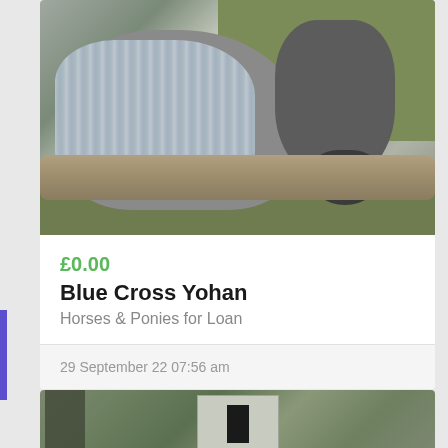[Figure (photo): Close-up photo of a horse wearing a striped blanket/rug, facing the camera over a log fence, green grass in background]
£0.00
Blue Cross Yohan
Horses & Ponies for Loan
29 September 22 07:56 am
[Figure (photo): Partial photo showing a stable/shed building with green vegetation on the left]